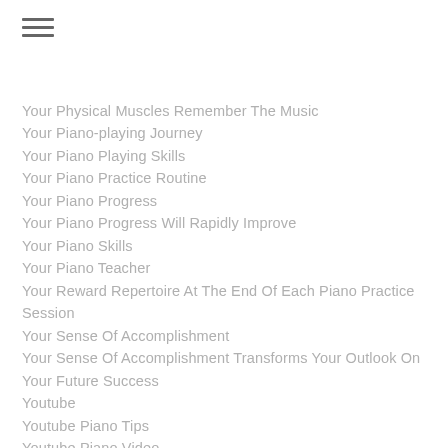Your Physical Muscles Remember The Music
Your Piano-playing Journey
Your Piano Playing Skills
Your Piano Practice Routine
Your Piano Progress
Your Piano Progress Will Rapidly Improve
Your Piano Skills
Your Piano Teacher
Your Reward Repertoire At The End Of Each Piano Practice Session
Your Sense Of Accomplishment
Your Sense Of Accomplishment Transforms Your Outlook On Your Future Success
Youtube
Youtube Piano Tips
Youtube Piano Video
YouTube Piano Videos
YouTube Videos